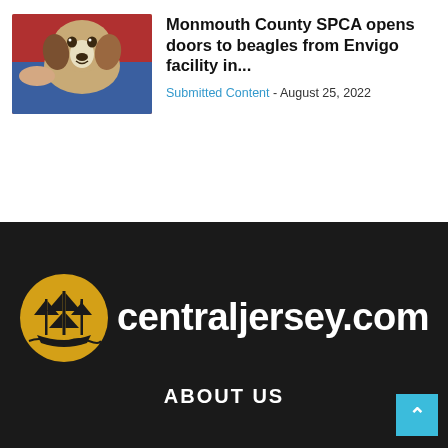[Figure (photo): A beagle dog being held by a person in a blue shirt against a red background]
Monmouth County SPCA opens doors to beagles from Envigo facility in...
Submitted Content - August 25, 2022
[Figure (logo): centraljersey.com logo — a golden circle with a tall ship silhouette and white text 'centraljersey.com']
ABOUT US